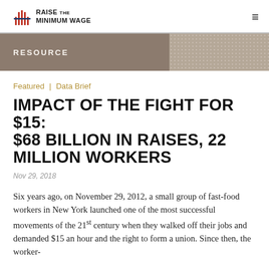RAISE THE MINIMUM WAGE
RESOURCE
Featured | Data Brief
IMPACT OF THE FIGHT FOR $15: $68 BILLION IN RAISES, 22 MILLION WORKERS
Nov 29, 2018
Six years ago, on November 29, 2012, a small group of fast-food workers in New York launched one of the most successful movements of the 21st century when they walked off their jobs and demanded $15 an hour and the right to form a union. Since then, the worker-